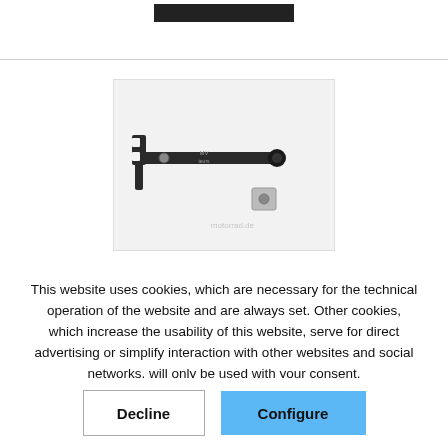[Figure (photo): A black metal T-shaped tool/bracket with a small square metal nut/fastener component beside it, on a white background. Watermark text 'motorrad.de' visible.]
This website uses cookies, which are necessary for the technical operation of the website and are always set. Other cookies, which increase the usability of this website, serve for direct advertising or simplify interaction with other websites and social networks, will only be used with your consent.
Decline
Configure